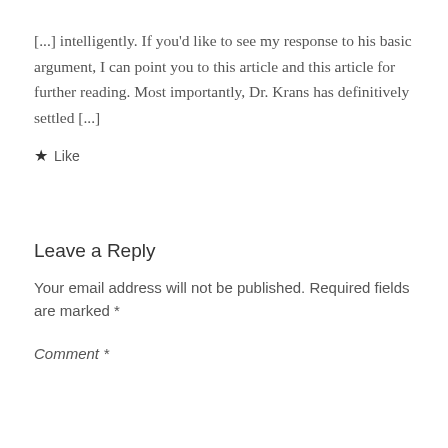[...] intelligently. If you'd like to see my response to his basic argument, I can point you to this article and this article for further reading. Most importantly, Dr. Krans has definitively settled [...]
★ Like
Leave a Reply
Your email address will not be published. Required fields are marked *
Comment *